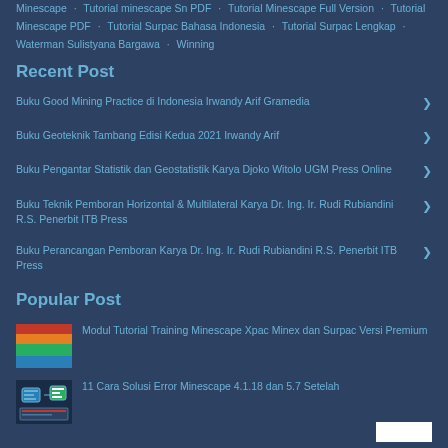Minescape · Tutorial minescape Sn PDF · Tutorial Minescape Full Version · Tutorial Minescape PDF · Tutorial Surpac Bahasa Indonesia · Tutorial Surpac Lengkap · Waterman Sulistyana Bargawa · Winning
Recent Post
Buku Good Mining Practice di Indonesia Irwandy Arif Gramedia
Buku Geoteknik Tambang Edisi Kedua 2021 Irwandy Arif
Buku Pengantar Statistik dan Geostatistik Karya Djoko Witolo UGM Press Online
Buku Teknik Pemboran Horizontal & Multilateral Karya Dr. Ing. Ir. Rudi Rubiandini R.S. Penerbit ITB Press
Buku Perancangan Pemboran Karya Dr. Ing. Ir. Rudi Rubiandini R.S. Penerbit ITB Press
Popular Post
Modul Tutorial Training Minescape Xpac Minex dan Surpac Versi Premium
11 Cara Solusi Error Minescape 4.1.18 dan 5.7 Setelah